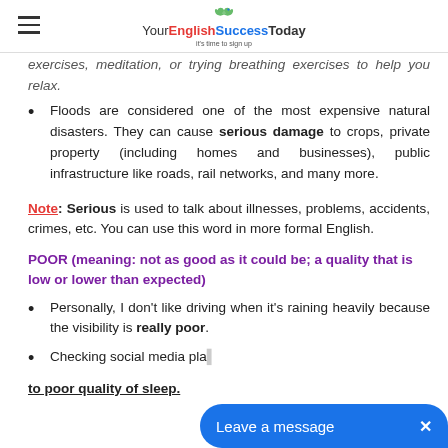Your English Success Today
exercises, meditation, or trying breathing exercises to help you relax.
Floods are considered one of the most expensive natural disasters. They can cause serious damage to crops, private property (including homes and businesses), public infrastructure like roads, rail networks, and many more.
Note: Serious is used to talk about illnesses, problems, accidents, crimes, etc. You can use this word in more formal English.
POOR (meaning: not as good as it could be; a quality that is low or lower than expected)
Personally, I don't like driving when it's raining heavily because the visibility is really poor.
Checking social media pla... to poor quality of sleep.